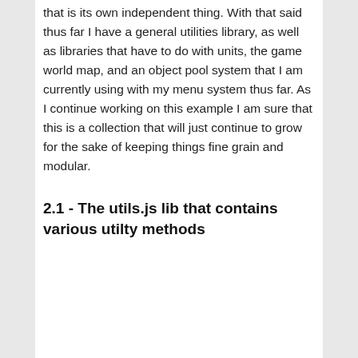that is its own independent thing. With that said thus far I have a general utilities library, as well as libraries that have to do with units, the game world map, and an object pool system that I am currently using with my menu system thus far. As I continue working on this example I am sure that this is a collection that will just continue to grow for the sake of keeping things fine grain and modular.
2.1 - The utils.js lib that contains various utilty methods